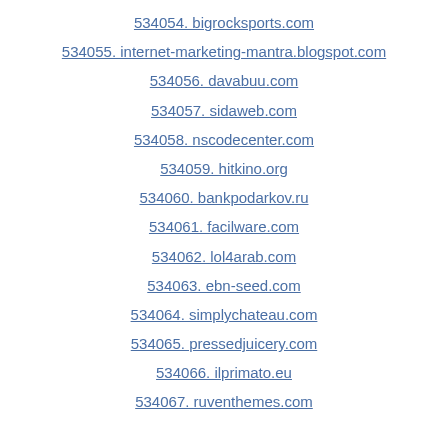534054. bigrocksports.com
534055. internet-marketing-mantra.blogspot.com
534056. davabuu.com
534057. sidaweb.com
534058. nscodecenter.com
534059. hitkino.org
534060. bankpodarkov.ru
534061. facilware.com
534062. lol4arab.com
534063. ebn-seed.com
534064. simplychateau.com
534065. pressedjuicery.com
534066. ilprimato.eu
534067. ruventhemes.com